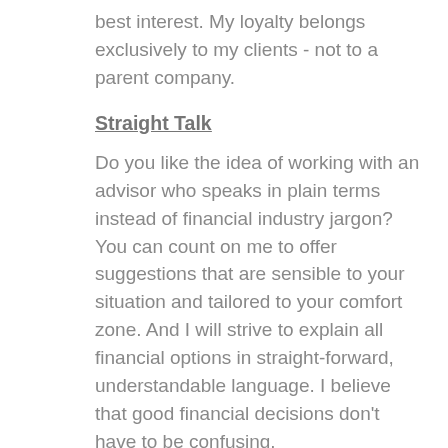best interest.  My loyalty belongs exclusively to my clients - not to a parent company.
Straight Talk
Do you like the idea of working with an advisor who speaks in plain terms instead of financial industry jargon?  You can count on me to offer suggestions that are sensible to your situation and tailored to your comfort zone. And I will strive to explain all financial options in straight-forward, understandable language. I believe that good financial decisions don't have to be confusing.
Message to Prospective Clients
I have 20 years of experience helping people of all walks of life as they move toward, into, and through retirement.  All my clients are